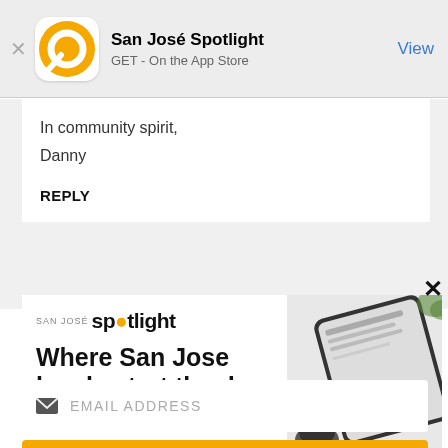San José Spotlight
GET - On the App Store
View
In community spirit,
Danny
REPLY
[Figure (screenshot): San José Spotlight advertisement banner showing logo, headline 'Where San Jose locals start the day.', and tablet/device image. URL: sanjosespotlight.com]
EMAIL ADDRESS
SUBSCRIBE
Thanks, I'm not interested or already a subscriber